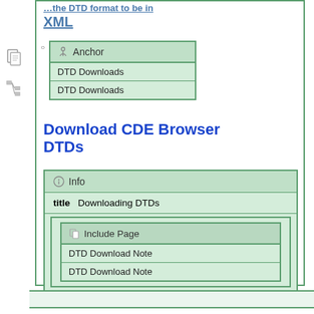…the DTD format to be in XML
Anchor | DTD Downloads | DTD Downloads
Download CDE Browser DTDs
Info — title: Downloading DTDs
Include Page | DTD Download Note | DTD Download Note